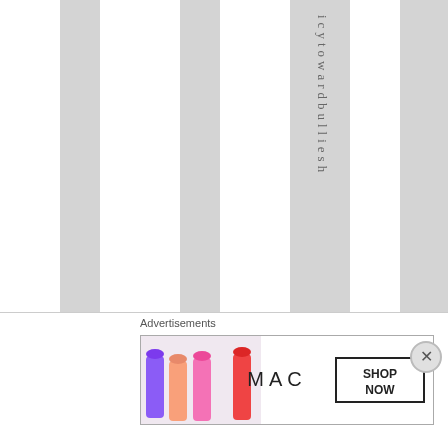[Figure (other): Page with alternating white and light gray vertical stripes forming a striped column background, with vertically rotated text reading 'icytowardbulliesh' running down one of the gray columns]
Advertisements
[Figure (photo): MAC cosmetics advertisement banner showing colorful lipsticks (purple, peach, pink, red) on the left, MAC logo in center, and a SHOP NOW box on the right]